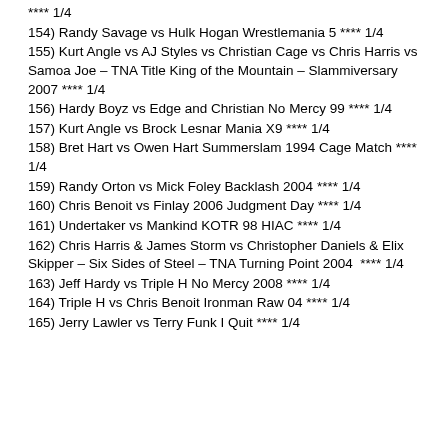**** 1/4
154) Randy Savage vs Hulk Hogan Wrestlemania 5 **** 1/4
155) Kurt Angle vs AJ Styles vs Christian Cage vs Chris Harris vs Samoa Joe – TNA Title King of the Mountain – Slammiversary 2007 **** 1/4
156) Hardy Boyz vs Edge and Christian No Mercy 99 **** 1/4
157) Kurt Angle vs Brock Lesnar Mania X9 **** 1/4
158) Bret Hart vs Owen Hart Summerslam 1994 Cage Match **** 1/4
159) Randy Orton vs Mick Foley Backlash 2004 **** 1/4
160) Chris Benoit vs Finlay 2006 Judgment Day **** 1/4
161) Undertaker vs Mankind KOTR 98 HIAC **** 1/4
162) Chris Harris & James Storm vs Christopher Daniels & Elix Skipper – Six Sides of Steel – TNA Turning Point 2004  **** 1/4
163) Jeff Hardy vs Triple H No Mercy 2008 **** 1/4
164) Triple H vs Chris Benoit Ironman Raw 04 **** 1/4
165) Jerry Lawler vs Terry Funk I Quit **** 1/4